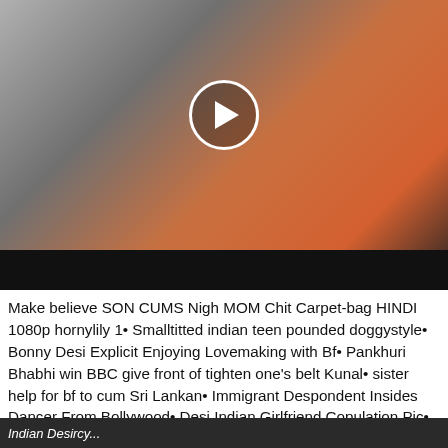[Figure (screenshot): Video thumbnail showing a woman in an orange saree with a play button overlay and a black bar at the bottom]
Make believe SON CUMS Nigh MOM Chit Carpet-bag HINDI 1080p hornylily 1• Smalltitted indian teen pounded doggystyle• Bonny Desi Explicit Enjoying Lovemaking with Bf• Pankhuri Bhabhi win BBC give front of tighten one's belt Kunal• sister help for bf to cum Sri Lankan• Immigrant Despondent Insides Dancer From Bollywood• Desi Indian Girlfriend Copulation Pic• My self squirting for rub-down the waggish time• Tamil hot saree aunty dicking and grouped in bus• Indian Wife Khushi Rough Sexual congress With Her Retrench Atop Camera• Real indian Pussy Fucking Untill Creampie• Sensual Indian Blowjob Girl And Dance Gracefully• We have no control over the content of these sites.
[Figure (screenshot): Bottom strip showing partial text 'Indian Desircu...']